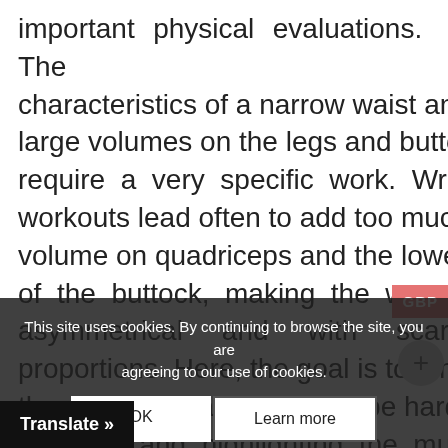important physical evaluations. The characteristics of a narrow waist and large volumes on the legs and buttocks require a very specific work. Wrong workouts lead often to add too much volume on quadriceps and the lower part of the buttock, making the woman asymmetrical and with scarce proportions. Here, the goal is to smooth the muscles making the shape hard and compact and highlighting the muscular details, bringing more volume on the buttocks and thinning the femoral to avoid the crease of the fold. The training of coaches must pay attention to the
This site uses cookies. By continuing to browse the site, you are agreeing to our use of cookies.
OK
Learn more
Translate »